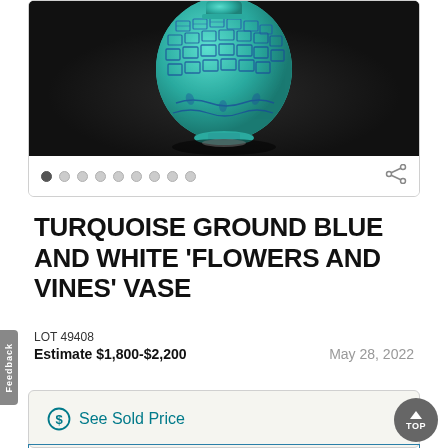[Figure (photo): A turquoise ground blue and white porcelain vase with floral and vine decorations, photographed against a dark background.]
TURQUOISE GROUND BLUE AND WHITE 'FLOWERS AND VINES' VASE
LOT 49408
Estimate $1,800-$2,200
May 28, 2022
See Sold Price